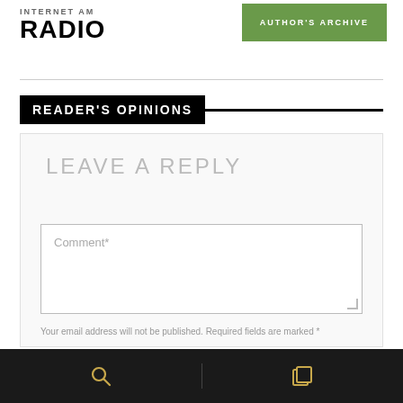RADIO
[Figure (other): Green button labeled AUTHOR'S ARCHIVE]
READER'S OPINIONS
LEAVE A REPLY
Comment*
Your email address will not be published. Required fields are marked *
Name*
[Figure (other): Bottom navigation bar with search icon and copy/pages icon in gold on dark background]